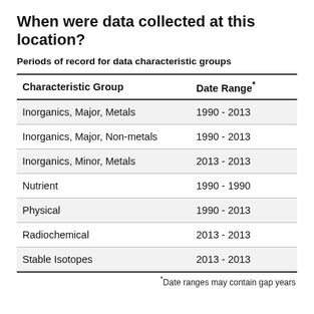When were data collected at this location?
Periods of record for data characteristic groups
| Characteristic Group | Date Range* |
| --- | --- |
| Inorganics, Major, Metals | 1990 - 2013 |
| Inorganics, Major, Non-metals | 1990 - 2013 |
| Inorganics, Minor, Metals | 2013 - 2013 |
| Nutrient | 1990 - 1990 |
| Physical | 1990 - 2013 |
| Radiochemical | 2013 - 2013 |
| Stable Isotopes | 2013 - 2013 |
*Date ranges may contain gap years